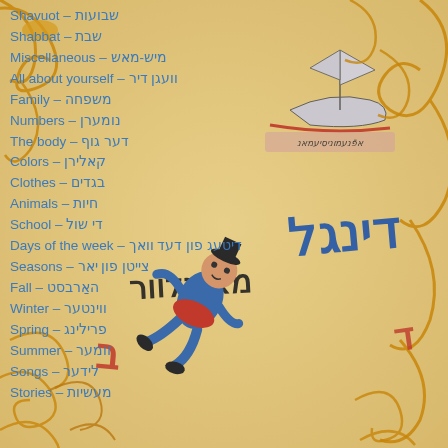[Figure (illustration): Decorative illustrated background with golden/amber swirling ornamental designs, a Yiddish book or ship illustration at top right, large Yiddish lettering in center-right area, and a blue-clad figure (jester/child) tumbling in center-lower area. Colorful folk-art style illustration.]
Shavuot – שבועות
Shabbat – שבת
Miscellaneous – מיש-מאש
All about yourself – וועגן דיר
Family – משפחה
Numbers – נומערן
The body – דער גוף
Colors – קאלירן
Clothes – בגדים
Animals – חיות
School – די שול
Days of the week – דיטעג פון דעד וואך
Seasons – צייטן פון יאר
Fall – האַרבסט
Winter – ווינטער
Spring – פרילינג
Summer – זומער
Songs – לידער
Stories – מעשיות